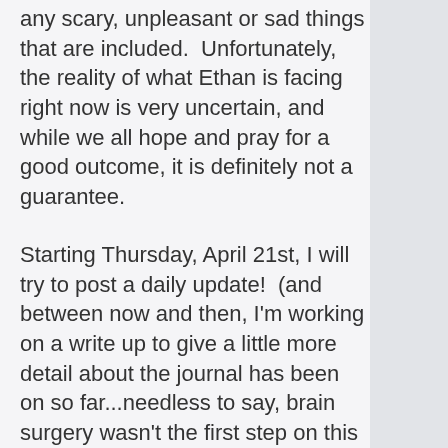any scary, unpleasant or sad things that are included.  Unfortunately, the reality of what Ethan is facing right now is very uncertain, and while we all hope and pray for a good outcome, it is definitely not a guarantee.

Starting Thursday, April 21st, I will try to post a daily update!  (and between now and then, I'm working on a write up to give a little more detail about the journal has been on so far...needless to say, brain surgery wasn't the first step on this long road!)

If anyone wants to send a card (Ethan likes anything with Star Wars, especially Kylo Ren, Broncos football, and penguins!), we'll be at the following